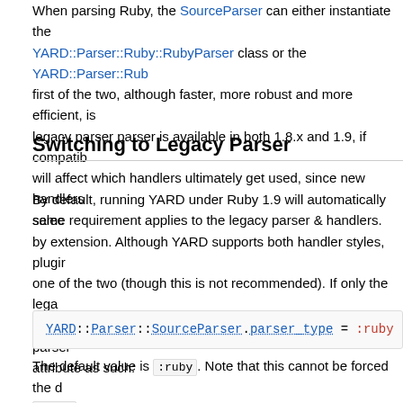When parsing Ruby, the SourceParser can either instantiate the YARD::Parser::Ruby::RubyParser class or the YARD::Parser::Rub... first of the two, although faster, more robust and more efficient, is legacy parser parser is available in both 1.8.x and 1.9, if compatib... will affect which handlers ultimately get used, since new handlers... same requirement applies to the legacy parser & handlers.
Switching to Legacy Parser
By default, running YARD under Ruby 1.9 will automatically selec... by extension. Although YARD supports both handler styles, plugin... one of the two (though this is not recommended). If only the legac... SourceParser class should force the use of the legacy parser... attribute as such:
YARD::Parser::SourceParser.parser_type = :ruby:
The default value is :ruby. Note that this cannot be forced the d... :ruby cannot be set under Ruby 1.8.x as the new parser is not...